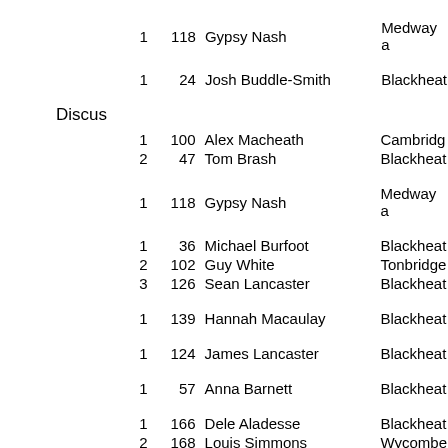| Rank | Num | Name | Club |
| --- | --- | --- | --- |
| 1 | 118 | Gypsy Nash | Medway a |
| 1 | 24 | Josh Buddle-Smith | Blackheat |
Discus
| Rank | Num | Name | Club |
| --- | --- | --- | --- |
| 1 | 100 | Alex Macheath | Cambridg |
| 2 | 47 | Tom Brash | Blackheat |
| 1 | 118 | Gypsy Nash | Medway a |
| 1 | 36 | Michael Burfoot | Blackheat |
| 2 | 102 | Guy White | Tonbridge |
| 3 | 126 | Sean Lancaster | Blackheat |
| 1 | 139 | Hannah Macaulay | Blackheat |
| 1 | 124 | James Lancaster | Blackheat |
| 1 | 57 | Anna Barnett | Blackheat |
| 1 | 166 | Dele Aladesse | Blackheat |
| 2 | 168 | Louis Simmons | Wycombe |